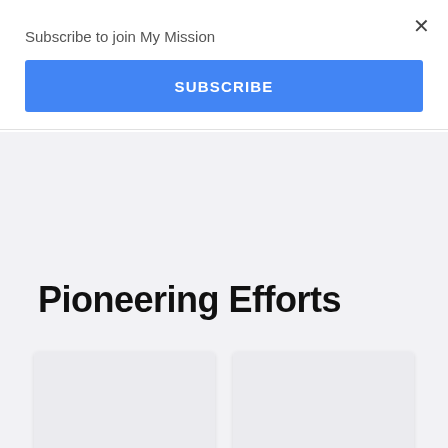Subscribe to join My Mission
SUBSCRIBE
Pioneering Efforts
W…
Sustainable